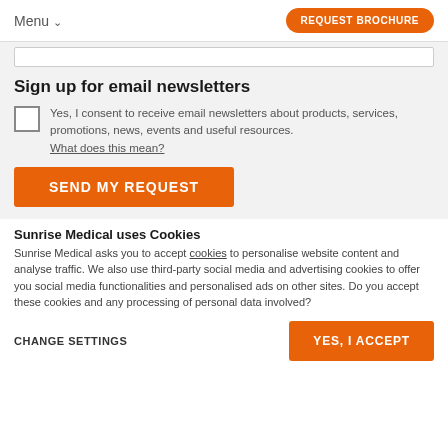Menu  REQUEST BROCHURE
Sign up for email newsletters
Yes, I consent to receive email newsletters about products, services, promotions, news, events and useful resources. What does this mean?
SEND MY REQUEST
Sunrise Medical uses Cookies
Sunrise Medical asks you to accept cookies to personalise website content and analyse traffic. We also use third-party social media and advertising cookies to offer you social media functionalities and personalised ads on other sites. Do you accept these cookies and any processing of personal data involved?
CHANGE SETTINGS  YES, I ACCEPT